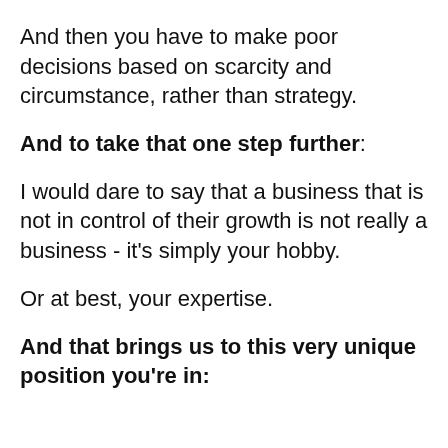And then you have to make poor decisions based on scarcity and circumstance, rather than strategy.
And to take that one step further:
I would dare to say that a business that is not in control of their growth is not really a business - it's simply your hobby.
Or at best, your expertise.
And that brings us to this very unique position you're in: